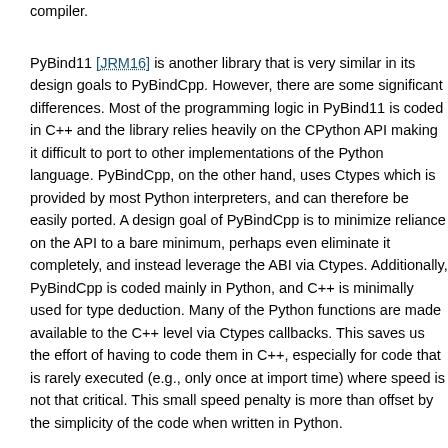compiler.
PyBind11 [JRM16] is another library that is very similar in its design goals to PyBindCpp. However, there are some significant differences. Most of the programming logic in PyBind11 is coded in C++ and the library relies heavily on the CPython API making it difficult to port to other implementations of the Python language. PyBindCpp, on the other hand, uses Ctypes which is provided by most Python interpreters, and can therefore be easily ported. A design goal of PyBindCpp is to minimize reliance on the API to a bare minimum, perhaps even eliminate it completely, and instead leverage the ABI via Ctypes. Additionally, PyBindCpp is coded mainly in Python, and C++ is minimally used for type deduction. Many of the Python functions are made available to the C++ level via Ctypes callbacks. This saves us the effort of having to code them in C++, especially for code that is rarely executed (e.g., only once at import time) where speed is not that critical. This small speed penalty is more than offset by the simplicity of the code when written in Python.